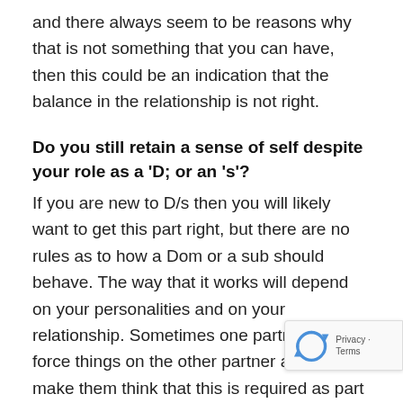and there always seem to be reasons why that is not something that you can have, then this could be an indication that the balance in the relationship is not right.
Do you still retain a sense of self despite your role as a 'D; or an 's'?
If you are new to D/s then you will likely want to get this part right, but there are no rules as to how a Dom or a sub should behave. The way that it works will depend on your personalities and on your relationship. Sometimes one partner can force things on the other partner and can make them think that this is required as part of the role. Any power exchange is based on consent and need to feel that you want to do the things wh are being asked of you. Any changes should be
[Figure (other): reCAPTCHA logo overlay with 'Privacy - Terms' text in bottom right corner]